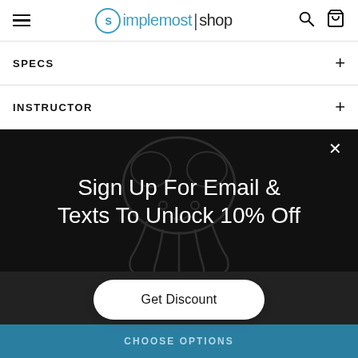simplemost | shop
SPECS
INSTRUCTOR
[Figure (screenshot): Dark popup modal with a brain illustration watermark, showing a promotional signup message: 'Sign Up For Email & Texts To Unlock 10% Off' with an X close button and a 'Get Discount' white pill button below. A teal 'CHOOSE OPTIONS' bar appears at the bottom.]